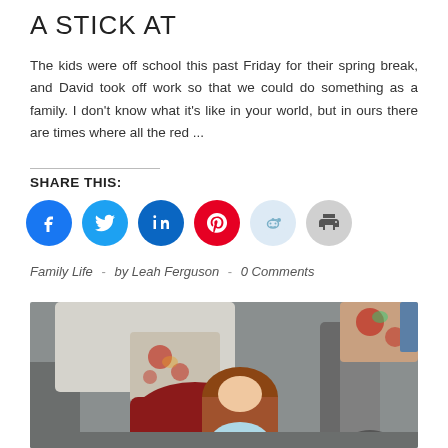A STICK AT
The kids were off school this past Friday for their spring break, and David took off work so that we could do something as a family. I don't know what it's like in your world, but in ours there are times where all the red ...
SHARE THIS:
[Figure (infographic): Row of social share icon buttons: Facebook (blue), Twitter (blue), LinkedIn (dark blue), Pinterest (red), Reddit (light blue), Print (gray)]
Family Life  -  by Leah Ferguson  -  0 Comments
[Figure (photo): Photo of children sitting on a couch/sofa with colorful floral pillows. A girl with long red/auburn hair is visible in the foreground, and another child's legs in gray pants are visible to the right.]